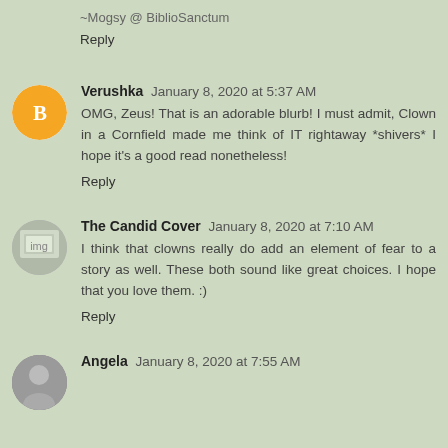~Mogsy @ BiblioSanctum
Reply
Verushka  January 8, 2020 at 5:37 AM
OMG, Zeus! That is an adorable blurb! I must admit, Clown in a Cornfield made me think of IT rightaway *shivers* I hope it's a good read nonetheless!
Reply
The Candid Cover  January 8, 2020 at 7:10 AM
I think that clowns really do add an element of fear to a story as well. These both sound like great choices. I hope that you love them. :)
Reply
Angela  January 8, 2020 at 7:55 AM